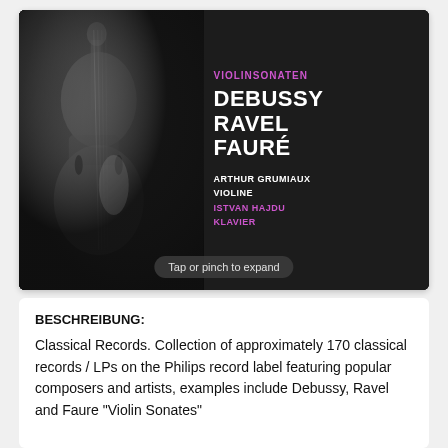[Figure (photo): Album cover for classical record: black background with violin silhouette on left. Right side shows text: VIOLINSONATEN in purple, then DEBUSSY RAVEL FAURÉ in large white bold letters, then ARTHUR GRUMIAUX VIOLINE in white, then ISTVAN HAJDU KLAVIER in purple. A 'Tap or pinch to expand' tooltip appears at the bottom.]
BESCHREIBUNG:
Classical Records. Collection of approximately 170 classical records / LPs on the Philips record label featuring popular composers and artists, examples include Debussy, Ravel and Faure "Violin Sonates"